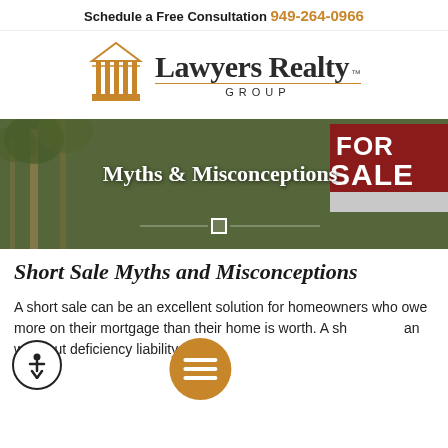Schedule a Free Consultation 949-264-0966
[Figure (logo): Lawyers Realty Group logo with golden pillar/courthouse icon and serif text]
[Figure (photo): Hero banner image of a residential property with trees and a FOR SALE sign, overlaid with text 'Myths & Misconceptions']
Short Sale Myths and Misconceptions
A short sale can be an excellent solution for homeowners who owe more on their mortgage than their home is worth. A short sale can wipe out deficiency liability and...